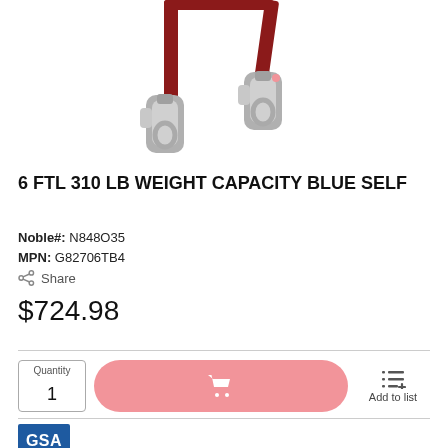[Figure (photo): Product photo showing two metal snap hooks/carabiners attached to a red/maroon strap against a white background]
6 FTL 310 LB WEIGHT CAPACITY BLUE SELF
Noble#: N848O35
MPN: G82706TB4
Share
$724.98
Quantity 1
Add to list
[Figure (logo): GSA logo - blue rectangle with white GSA text]